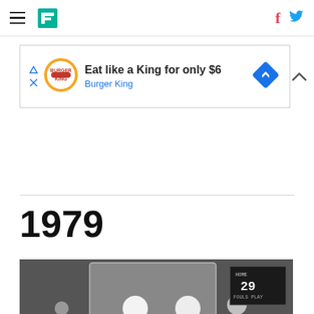HuffPost navigation with hamburger menu, logo, Facebook and Twitter icons
[Figure (infographic): Burger King advertisement banner: 'Eat like a King for only $6 — Burger King' with BK logo and navigation arrow diamond icon]
[Figure (photo): Black and white photograph of a basketball player shooting toward a hoop from below, with arena lights and scoreboard visible in background, circa 1979]